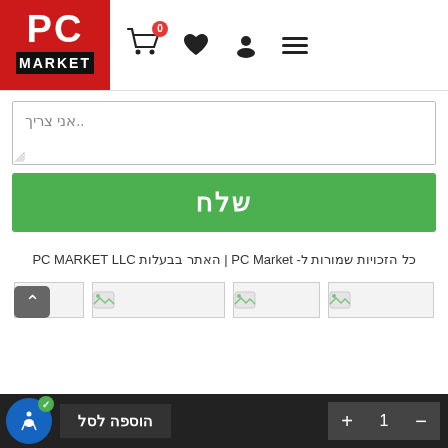[Figure (screenshot): PC Market website header with cart icon (badge 0), heart icon, user icon, hamburger menu, and PC MARKET logo (red background)]
אני צריך..
שלח
כל הזכויות שמורות ל- PC Market | האתר בבעלות PC MARKET LLC
[Figure (illustration): Row of broken image placeholder icons]
הוספה לסל
1